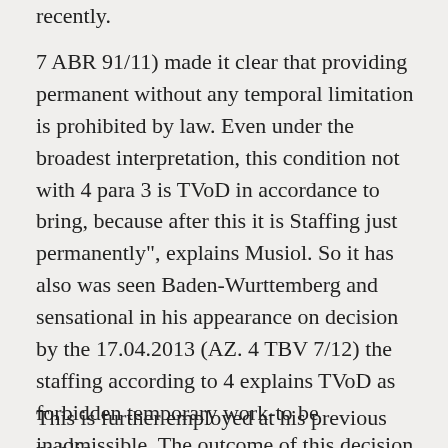recently.
7 ABR 91/11) made it clear that providing permanent without any temporal limitation is prohibited by law. Even under the broadest interpretation, this condition not with 4 para 3 is TVoD in accordance to bring, because after this it is Staffing just permanently", explains Musiol. So it has also was seen Baden-Wurttemberg and sensational in his appearance on decision by the 17.04.2013 (AZ. 4 TBV 7/12) the staffing according to 4 explains TVoD as forbidden temporary work-to be inadmissible. The outcome of this decision is able to convince not according to Musiol: the staffing according to 4 TVoD and comparable tariff regulations is just the labour protection of the employee. Official site: Gary Kelly.
This is further employed at his previous public